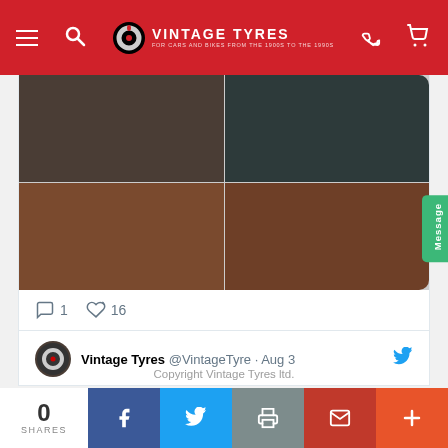VINTAGE TYRES FOR CARS AND BIKES FROM THE 1900s TO THE 1990s
[Figure (photo): Four-panel image grid showing color swatches: top-left dark brown, top-right dark teal/charcoal, bottom-left medium brown, bottom-right darker brown]
1  16
Vintage Tyres @VintageTyre · Aug 3
Copyright Vintage Tyres ltd.
0 SHARES